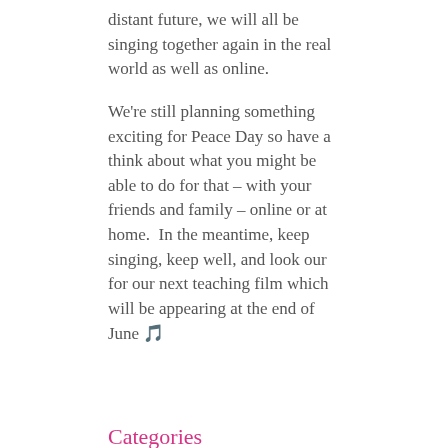distant future, we will all be singing together again in the real world as well as online.
We're still planning something exciting for Peace Day so have a think about what you might be able to do for that – with your friends and family – online or at home.  In the meantime, keep singing, keep well, and look our for our next teaching film which will be appearing at the end of June 🎵
Categories
Our News